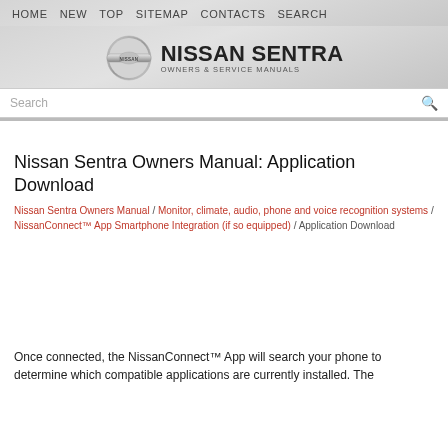HOME  NEW  TOP  SITEMAP  CONTACTS  SEARCH
[Figure (logo): Nissan Sentra Owners & Service Manuals logo with Nissan badge]
Search
Nissan Sentra Owners Manual: Application Download
Nissan Sentra Owners Manual / Monitor, climate, audio, phone and voice recognition systems / NissanConnect™ App Smartphone Integration (if so equipped) / Application Download
Once connected, the NissanConnect™ App will search your phone to determine which compatible applications are currently installed. The